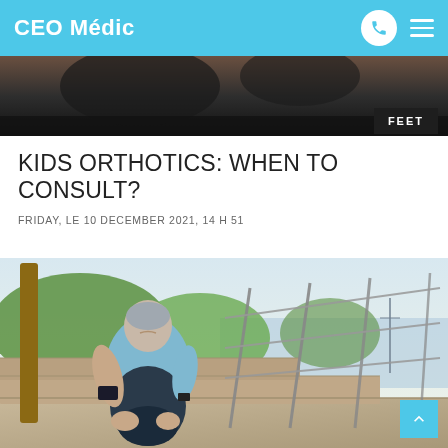CEO Médic
[Figure (photo): Top cropped photo showing dark background, partial view of a medical/sports context]
FEET
KIDS ORTHOTICS: WHEN TO CONSULT?
FRIDAY, LE 10 DECEMBER 2021, 14 H 51
[Figure (photo): Elderly woman with short grey hair sitting on outdoor stairs holding her knee/foot in pain, wearing a light blue t-shirt and dark athletic pants, with green trees and water in the background]